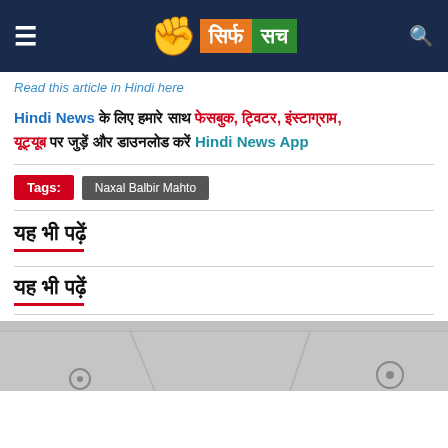सिर्फ सच
Read this article in Hindi here
Hindi News के लिए हमारे साथ फेसबुक, ट्विटर, इंस्टाग्राम, यूट्यूब पर जुड़ें और डाउनलोड करें Hindi News App
Tags: Naxal Balbir Mahto
यह भी पढ़ें
यह भी पढ़ें
[Figure (photo): Interior room photo showing ceiling with fans]